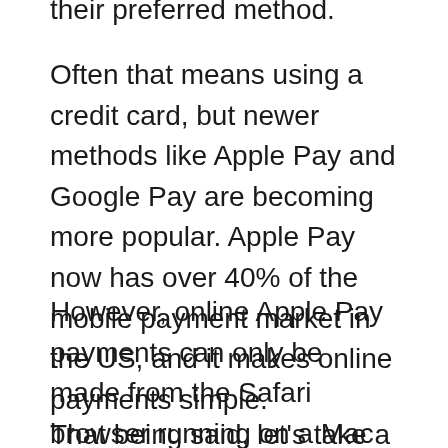their preferred method.
Often that means using a credit card, but newer methods like Apple Pay and Google Pay are becoming more popular. Apple Pay now has over 40% of the mobile payment market in the US, and it makes online payments simple.
However, online Apple Pay payments can only be made from the Safari browser running on a Mac or iOS device.
That being said, let's take a